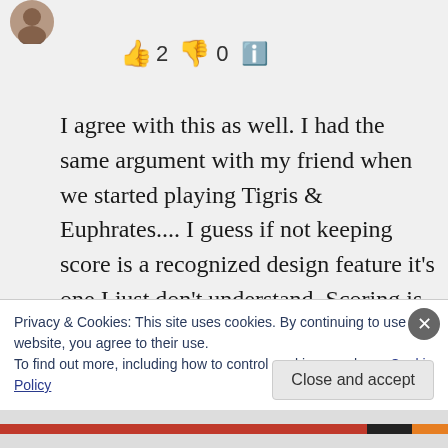[Figure (photo): User avatar image, small circular profile photo in top left]
👍 2 👎 0 ℹ️
I agree with this as well. I had the same argument with my friend when we started playing Tigris & Euphrates.... I guess if not keeping score is a recognized design feature it's one I just don't understand. Scoring is either public or it's private. Keeping score in your head is just memory work. it doesn't
Privacy & Cookies: This site uses cookies. By continuing to use this website, you agree to their use.
To find out more, including how to control cookies, see here: Cookie Policy
Close and accept